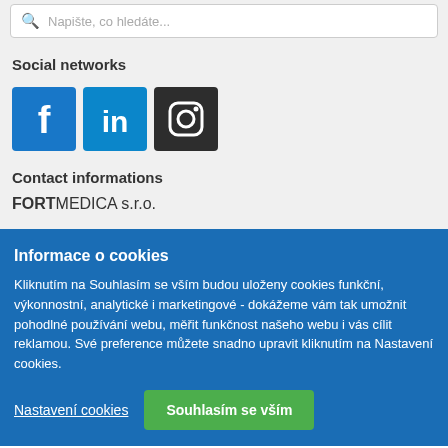Napište, co hledáte...
Social networks
[Figure (illustration): Three social media icons: Facebook (blue), LinkedIn (blue), Instagram (dark grey)]
Contact informations
FORTMEDICA s.r.o.
Informace o cookies
Kliknutím na Souhlasím se vším budou uloženy cookies funkční, výkonnostní, analytické i marketingové - dokážeme vám tak umožnit pohodlné používání webu, měřit funkčnost našeho webu i vás cílit reklamou. Své preference můžete snadno upravit kliknutím na Nastavení cookies.
Nastavení cookies
Souhlasím se vším